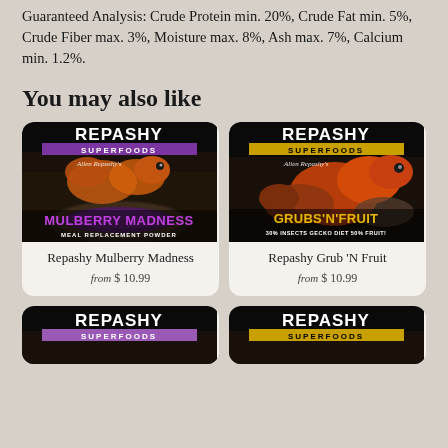Guaranteed Analysis: Crude Protein min. 20%, Crude Fat min. 5%, Crude Fiber max. 3%, Moisture max. 8%, Ash max. 7%, Calcium min. 1.2%.
You may also like
[Figure (photo): Repashy Superfoods Mulberry Madness Meal Replacement Powder product label with orange gecko]
Repashy Mulberry Madness
from $ 10.99
[Figure (photo): Repashy Superfoods Grubs 'N' Fruit 30% Insects Gecko Diet 50% Fruit product label with orange gecko]
Repashy Grub 'N Fruit
from $ 10.99
[Figure (photo): Repashy Superfoods product label bottom partial view]
[Figure (photo): Repashy Superfoods product label bottom partial view]